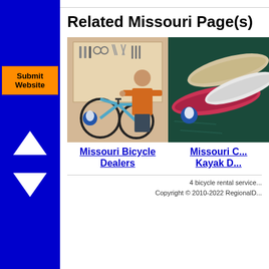Related Missouri Page(s)
[Figure (illustration): Bicycle shop illustration with mechanic and tools on wall]
Missouri Bicycle Dealers
[Figure (photo): Colorful kayaks on dark water with Missouri state icon]
Missouri C... Kayak D...
4 bicycle rental service... Copyright © 2010-2022 RegionalD...